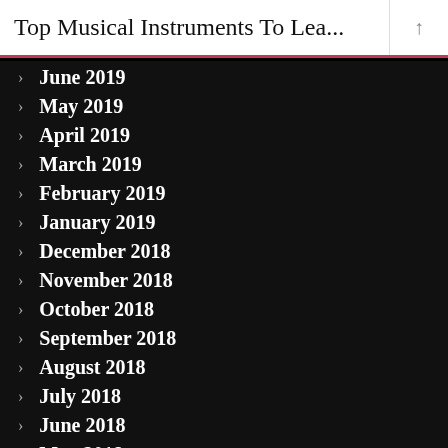Top Musical Instruments To Lea...
June 2019
May 2019
April 2019
March 2019
February 2019
January 2019
December 2018
November 2018
October 2018
September 2018
August 2018
July 2018
June 2018
May 2018
April 2018
March 2018
February 2018
January 2018